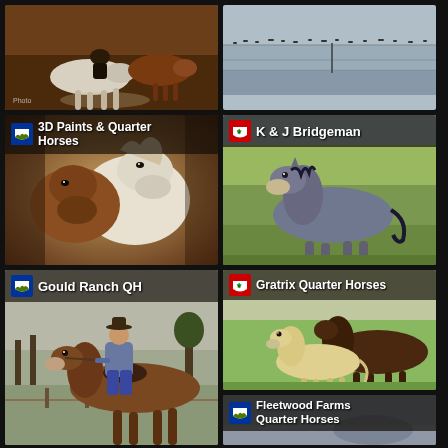[Figure (photo): Horse cutting cattle action photo, rider on white horse chasing brown cattle]
[Figure (photo): Aerial or wide landscape photo showing cattle on flat terrain near water]
[Figure (photo): 3D Paints & Quarter Horses - close-up of paint horses, white and brown faces]
[Figure (photo): K & J Bridgeman - grey/roan horse standing in green grassland field]
[Figure (photo): Gould Ranch QH - cowboy on brown quarter horse in field]
[Figure (photo): Gratrix Quarter Horses - palomino foal standing next to dark mare]
[Figure (photo): Fleetwood Farms Quarter Horses - partial card at bottom right]